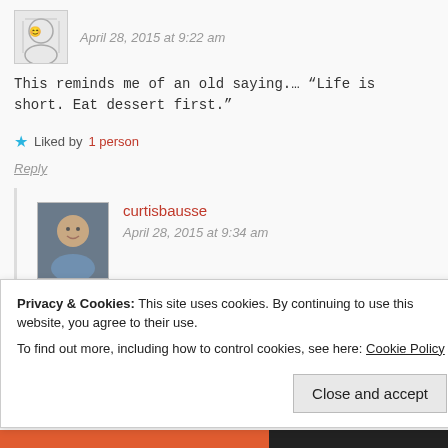April 28, 2015 at 9:22 am
This reminds me of an old saying…. “Life is short. Eat dessert first.”
★ Liked by 1 person
Reply
curtisbausse
April 28, 2015 at 9:34 am
Ha, ha! Yes, very apt!
★ Like
Privacy & Cookies: This site uses cookies. By continuing to use this website, you agree to their use.
To find out more, including how to control cookies, see here: Cookie Policy
Close and accept